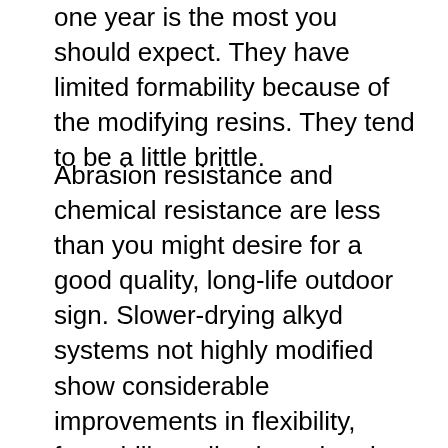one year is the most you should expect. They have limited formability because of the modifying resins. They tend to be a little brittle.
Abrasion resistance and chemical resistance are less than you might desire for a good quality, long-life outdoor sign. Slower-drying alkyd systems not highly modified show considerable improvements in flexibility, formability, adhesion, abrasion and chemical resistance. These are the products primarily used on long-life outdoor signs today. This type of product will air-dry set-to-touch in four hours at room temperature or can be baked 30 minutes at 121° C (250° F) in the oven. Heat resistance is better than mentioned before, but with this type of system (which is still an alkyd system), the enamel will tend to yellow if you reach temperatures of 149° C (300° F) or more any extended period. Thermosetting enamels are